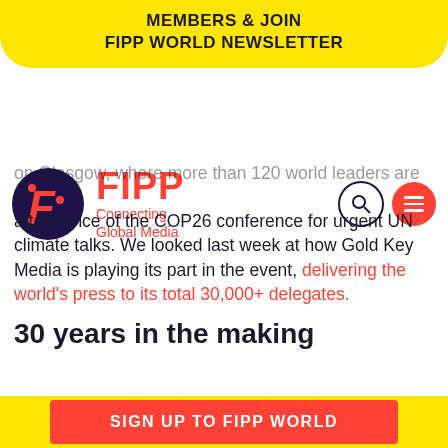MEMBERS & JOIN
FIPP WORLD NEWSLETTER
[Figure (logo): FIPP logo — dark purple circle with stylized F letterform in red, beside FIPP wordmark in red with tagline Connecting Global Media. Search icon and red hamburger menu icon on right.]
on Glasgow, where more than 120 world leaders are in attendance of the COP26 conference for urgent UN climate talks. We looked last week at how Gold Key Media is playing its part in the event, delivering the world's press to its total 30,000+ delegates.
30 years in the making
Your first step to joining FIPP's global community of media leaders
SIGN UP TO FIPP WORLD